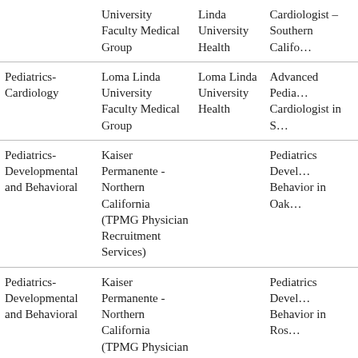| [cont.] University Faculty Medical Group | Linda University Health | Cardiologist – Southern Califo… |
| Pediatrics-Cardiology | Loma Linda University Faculty Medical Group | Loma Linda University Health | Advanced Pedia… Cardiologist in S… |
| Pediatrics-Developmental and Behavioral | Kaiser Permanente - Northern California (TPMG Physician Recruitment Services) |  | Pediatrics Devel… Behavior in Oak… |
| Pediatrics-Developmental and Behavioral | Kaiser Permanente - Northern California (TPMG Physician Recruitment |  | Pediatrics Devel… Behavior in Ros… |